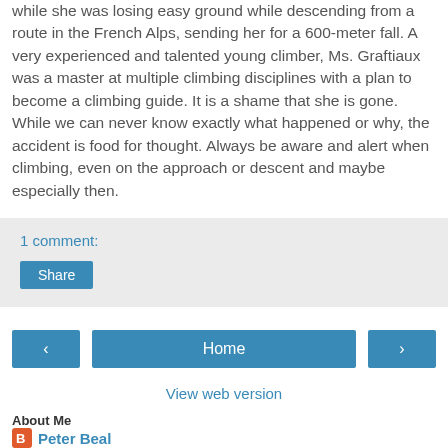while she was losing easy ground while descending from a route in the French Alps, sending her for a 600-meter fall. A very experienced and talented young climber, Ms. Graftiaux was a master at multiple climbing disciplines with a plan to become a climbing guide. It is a shame that she is gone. While we can never know exactly what happened or why, the accident is food for thought. Always be aware and alert when climbing, even on the approach or descent and maybe especially then.
1 comment:
Share
Home
View web version
About Me
Peter Beal